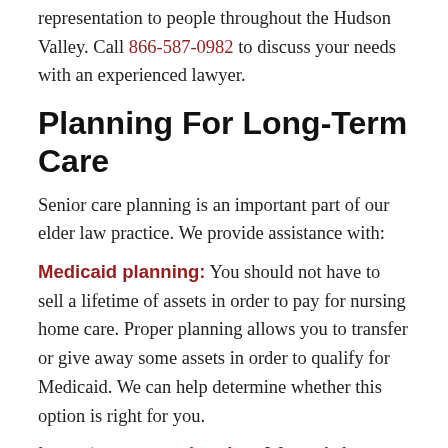representation to people throughout the Hudson Valley. Call 866-587-0982 to discuss your needs with an experienced lawyer.
Planning For Long-Term Care
Senior care planning is an important part of our elder law practice. We provide assistance with:
Medicaid planning: You should not have to sell a lifetime of assets in order to pay for nursing home care. Proper planning allows you to transfer or give away some assets in order to qualify for Medicaid. We can help determine whether this option is right for you.
Long-term care planning: We can help you create a life-care plan which is designed to help you